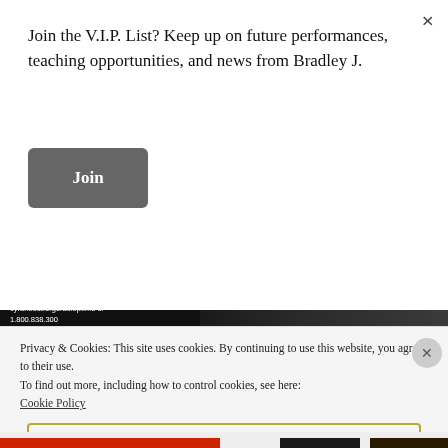Join the V.I.P. List? Keep up on future performances, teaching opportunities, and news from Bradley J.
Join
[Figure (screenshot): Theater poster strip for Cyrano de Bergerac showing venue info and cast including David Serero as Cyrano]
I'm thrilled to be making my Off-Broadway
Privacy & Cookies: This site uses cookies. By continuing to use this website, you agree to their use.
To find out more, including how to control cookies, see here:
Cookie Policy
Close and accept